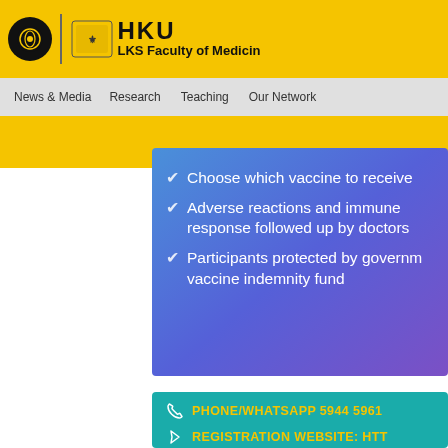HKU LKS Faculty of Medicine
News & Media | Research | Teaching | Our Network
Choose which vaccine to receive
Adverse reactions and immune response followed up by doctors
Participants protected by government vaccine indemnity fund
PHONE/WHATSAPP 5944 5961
REGISTRATION WEBSITE: HTT